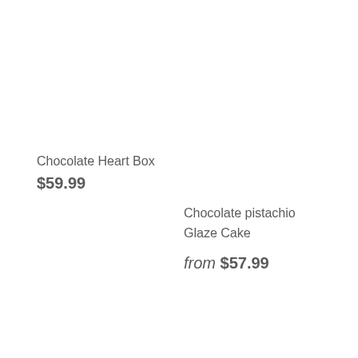Chocolate Heart Box
$59.99
Chocolate pistachio Glaze Cake
from $57.99